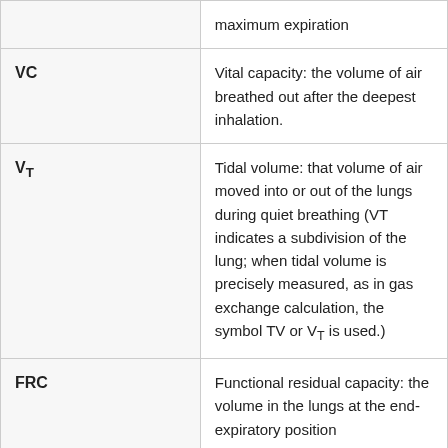| Term | Definition |
| --- | --- |
|  | maximum expiration |
| VC | Vital capacity: the volume of air breathed out after the deepest inhalation. |
| VT | Tidal volume: that volume of air moved into or out of the lungs during quiet breathing (VT indicates a subdivision of the lung; when tidal volume is precisely measured, as in gas exchange calculation, the symbol TV or VT is used.) |
| FRC | Functional residual capacity: the volume in the lungs at the end-expiratory position |